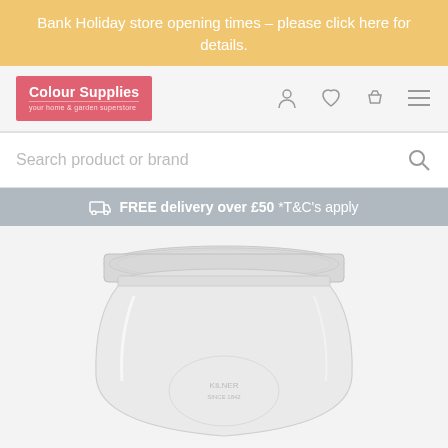Bank Holiday store opening times – please click here for details.
[Figure (logo): Colour Supplies logo – red/pink background with white text reading 'Colour Supplies' and subtitle 'your home & garden superstore']
Search product or brand
FREE delivery over £50 *T&C's apply
[Figure (photo): Close-up photo of a glass mason jar with a silver screw-top lid, partially visible, on a light grey/white background]